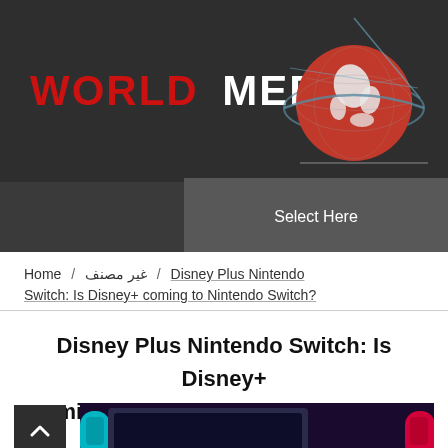[Figure (logo): World Media logo with red globe and text WORLD MEDIA]
Select Here
Home / غير مصنف / Disney Plus Nintendo Switch: Is Disney+ coming to Nintendo Switch?
Disney Plus Nintendo Switch: Is Disney+ coming to Nintendo Switch? Release date latest
[Figure (photo): Nintendo Switch console with colored Joy-Con controllers on dark background]